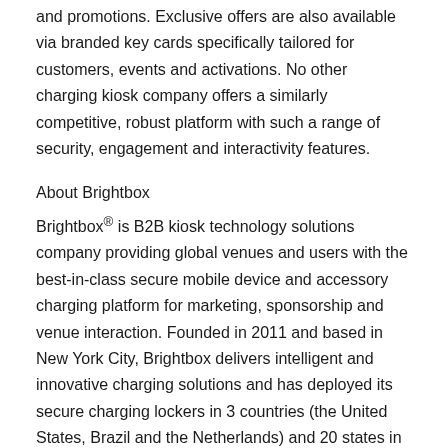and promotions. Exclusive offers are also available via branded key cards specifically tailored for customers, events and activations. No other charging kiosk company offers a similarly competitive, robust platform with such a range of security, engagement and interactivity features.
About Brightbox
Brightbox® is B2B kiosk technology solutions company providing global venues and users with the best-in-class secure mobile device and accessory charging platform for marketing, sponsorship and venue interaction. Founded in 2011 and based in New York City, Brightbox delivers intelligent and innovative charging solutions and has deployed its secure charging lockers in 3 countries (the United States, Brazil and the Netherlands) and 20 states in a variety of event and vertical markets that include hospitality, entertainment, healthcare, retail, education, transport and government.
Event customers include AOL, AdWeek, American Airlines, BBC,